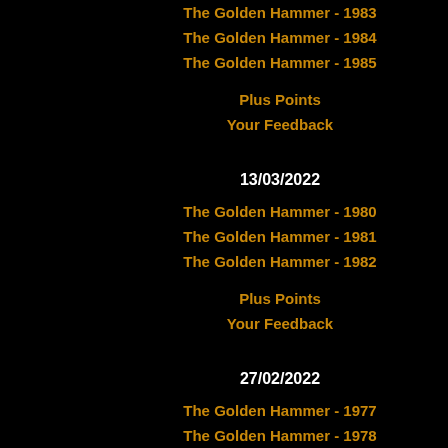The Golden Hammer - 1983
The Golden Hammer - 1984
The Golden Hammer - 1985
Plus Points
Your Feedback
13/03/2022
The Golden Hammer - 1980
The Golden Hammer - 1981
The Golden Hammer - 1982
Plus Points
Your Feedback
27/02/2022
The Golden Hammer - 1977
The Golden Hammer - 1978
The Golden Hammer - 1979
Plus Points
Your Feedback
Oxford following the closure of Wemble operation that would have kept him out from the Speedway Express magazine fo
"Dave [Lanning] wasted no time in findi rider supply for Thursday tracks because Thursdays. Added to this was the fact th necessary calibre available . . . . Undeter a is pronounced "or") and the deal was s Immingham two days before the Rebels
Kaasa is 24 and a bachelor. Dark haired engaged on projects for his employing co Naturally his employers are not overjoye
However, with all his qualifications safe and thrust of British League racing. His lack of regular meetings in Norway. For Norwegian Championship, well ahead o old track record at his home track Skien, during his great years and more recently
Eide, Norwegian champion for the last f enthusiasm which he showed for Ed Star merchant he will, like all Norwegians tak and also to the demands of full-time spe
Kaasa is known in Norway for his fast sp Roadster, a Lotus Europa, a 2000 GT 7